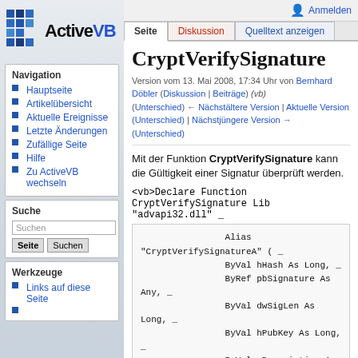[Figure (logo): ActiveVB logo with blue grid icon and bold text]
Navigation
Hauptseite
Artikelübersicht
Aktuelle Ereignisse
Letzte Änderungen
Zufällige Seite
Hilfe
Zu ActiveVB wechseln
Suche
Werkzeuge
Links auf diese Seite
Anmelden
CryptVerifySignature
Version vom 13. Mai 2008, 17:34 Uhr von Bernhard Döbler (Diskussion | Beiträge) (vb) (Unterschied) ← Nächstältere Version | Aktuelle Version (Unterschied) | Nächstjüngere Version → (Unterschied)
Mit der Funktion CryptVerifySignature kann die Gültigkeit einer Signatur überprüft werden.
<vb>Declare Function CryptVerifySignature Lib "advapi32.dll" _
Alias "CryptVerifySignatureA" ( _
                ByVal hHash As Long, _
                ByRef pbSignature As Any, _
                ByVal dwSigLen As Long, _
                ByVal hPubKey As Long, _
                ByVal sDescription As Long, _
                ByVal dwFlags